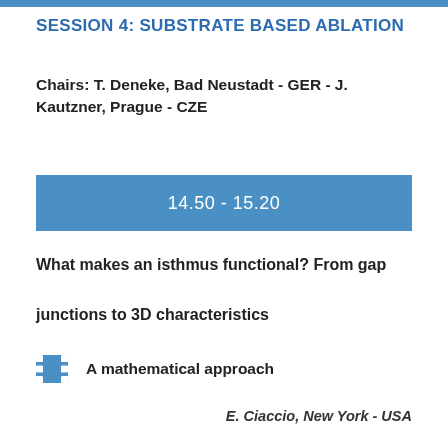SESSION 4: SUBSTRATE BASED ABLATION
Chairs: T. Deneke, Bad Neustadt - GER - J. Kautzner, Prague - CZE
14.50 - 15.20
What makes an isthmus functional? From gap junctions to 3D characteristics
A mathematical approach
E. Ciaccio, New York - USA